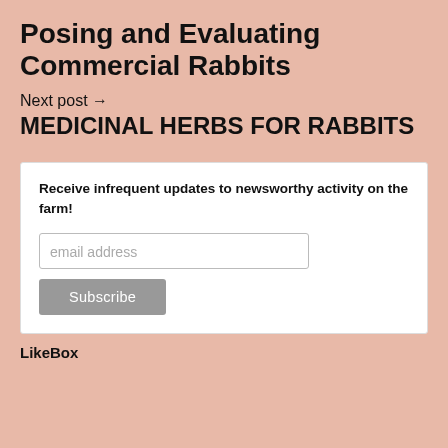Posing and Evaluating Commercial Rabbits
Next post →
MEDICINAL HERBS FOR RABBITS
Receive infrequent updates to newsworthy activity on the farm!
email address
Subscribe
LikeBox